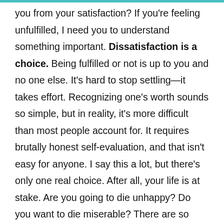you from your satisfaction? If you're feeling unfulfilled, I need you to understand something important. Dissatisfaction is a choice. Being fulfilled or not is up to you and no one else. It's hard to stop settling—it takes effort. Recognizing one's worth sounds so simple, but in reality, it's more difficult than most people account for. It requires brutally honest self-evaluation, and that isn't easy for anyone. I say this a lot, but there's only one real choice. After all, your life is at stake. Are you going to die unhappy? Do you want to die miserable? There are so many people alive today who aren't really living. There are a lot of people who live their whole lives in misery, and never break free from their self-imposed shackles.